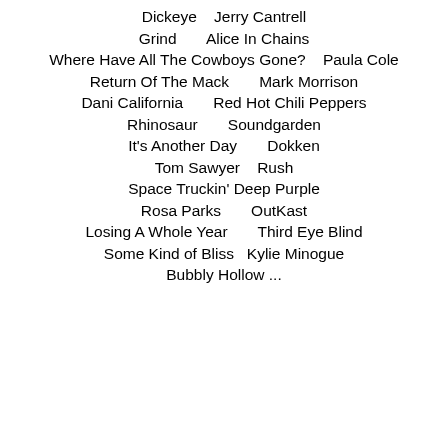Dickeye   Jerry Cantrell
Grind      Alice In Chains
Where Have All The Cowboys Gone?   Paula Cole
Return Of The Mack      Mark Morrison
Dani California      Red Hot Chili Peppers
Rhinosaur      Soundgarden
It's Another Day      Dokken
Tom Sawyer   Rush
Space Truckin' Deep Purple
Rosa Parks      OutKast
Losing A Whole Year      Third Eye Blind
Some Kind of Bliss  Kylie Minogue
Bubbly Hollow ...